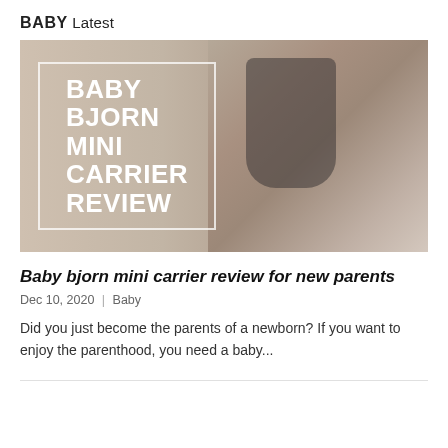BABY Latest
[Figure (photo): Baby Bjorn Mini Carrier Review promotional image showing a woman holding a baby in a dark carrier. Left side has a beige/tan background with a white-bordered box containing bold white text 'BABY BJORN MINI CARRIER REVIEW'. Right side shows a woman and baby wearing the carrier.]
Baby bjorn mini carrier review for new parents
Dec 10, 2020 | Baby
Did you just become the parents of a newborn? If you want to enjoy the parenthood, you need a baby...